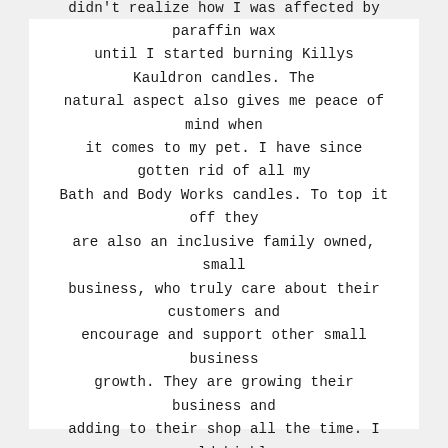★ ★ ★ ★ ★
Their Soy Wax candles and melts are amazing. I didn't realize how I was affected by paraffin wax until I started burning Killys Kauldron candles. The natural aspect also gives me peace of mind when it comes to my pet. I have since gotten rid of all my Bath and Body Works candles. To top it off they are also an inclusive family owned, small business, who truly care about their customers and encourage and support other small business growth. They are growing their business and adding to their shop all the time. I would highly recommend any purchase from them.
Shyanne Z.
Beach City, OH